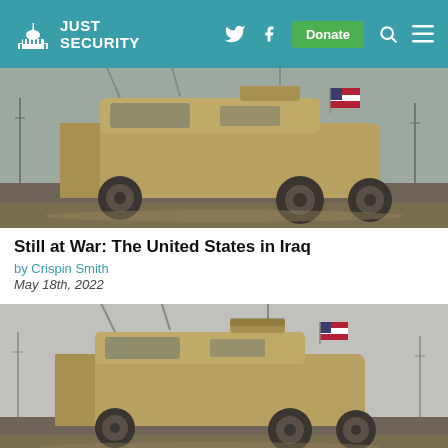JUST SECURITY
[Figure (photo): A tan/desert-colored MRAP military vehicle with an American flag, driving on a road in a desert landscape]
Still at War: The United States in Iraq
by Crispin Smith
May 18th, 2022
[Figure (photo): A tan/desert-colored MRAP military vehicle with an American flag, on a road in a desert landscape, similar to the first image]
Still at War: The United States in Syr…